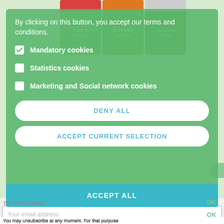[Figure (screenshot): Product cans (fish soup assortment) visible behind a semi-transparent green cookie consent modal overlay]
By clicking on this button, you accept our terms and conditions.
Mandatory cookies (checked)
Statistics cookies (unchecked)
Marketing and Social network cookies (unchecked)
DENY ALL
ACCEPT CURRENT SELECTION
ACCEPT ALL
Assortment Of Fish Soups
£21.08
Your email address
OK
You may unsubscribe at any moment. For that purpose